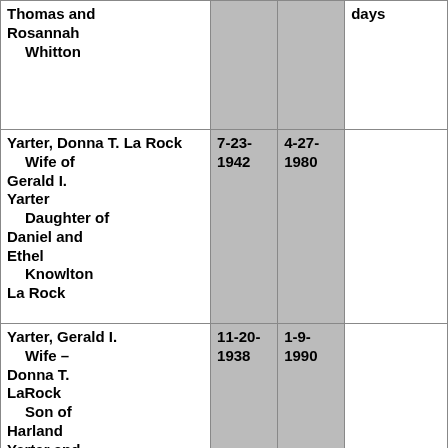| Name | Birth | Death | Notes |
| --- | --- | --- | --- |
| Thomas and Rosannah Whitton |  |  | days |
| Yarter, Donna T. La Rock
    Wife of Gerald I. Yarter
    Daughter of Daniel and Ethel
    Knowlton La Rock | 7-23-1942 | 4-27-1980 |  |
| Yarter, Gerald I.
    Wife – Donna T. LaRock
    Son of Harland Yarter and Grace
    Yarter Van | 11-20-1938 | 1-9-1990 |  |